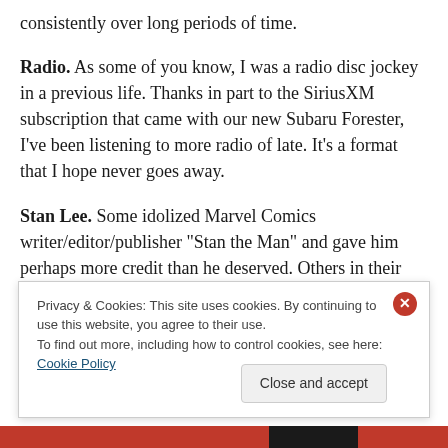consistently over long periods of time.
Radio. As some of you know, I was a radio disc jockey in a previous life. Thanks in part to the SiriusXM subscription that came with our new Subaru Forester, I've been listening to more radio of late. It's a format that I hope never goes away.
Stan Lee. Some idolized Marvel Comics writer/editor/publisher "Stan the Man" and gave him perhaps more credit than he deserved. Others in their zeal to counteract Stan's penchant for self-aggrandizement
Privacy & Cookies: This site uses cookies. By continuing to use this website, you agree to their use.
To find out more, including how to control cookies, see here: Cookie Policy